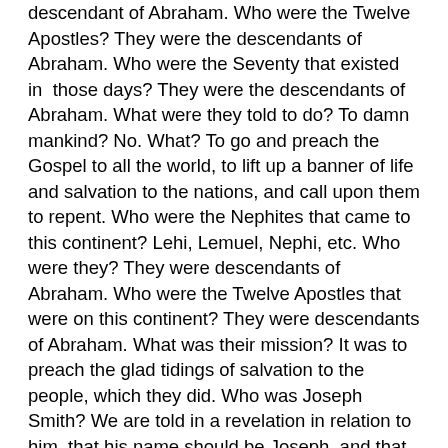descendant of Abraham. Who were the Twelve Apostles? They were the descendants of Abraham. Who were the Seventy that existed in those days? They were the descendants of Abraham. What were they told to do? To damn mankind? No. What? To go and preach the Gospel to all the world, to lift up a banner of life and salvation to the nations, and call upon them to repent. Who were the Nephites that came to this continent? Lehi, Lemuel, Nephi, etc. Who were they? They were descendants of Abraham. Who were the Twelve Apostles that were on this continent? They were descendants of Abraham. What was their mission? It was to preach the glad tidings of salvation to the people, which they did. Who was Joseph Smith? We are told in a revelation in relation to him, that his name should be Joseph, and that he should be the son of Joseph, who was a descendant of that Joseph who went into Egypt. God saw proper to reveal unto him the ancient records of the people that lived on this continent, as a descendant of Abraham, and what was his message to the people? "Go ye unto all the world and preach the Gospel to every creature; he that believeth and is baptized shall be saved, and he that believeth not shall be damned." Has this message been communicated? It has to a very great extent. There are around me and before me, men who have traveled thousands and hundreds of thousands of miles, without purse or scrip, as they did formerly, trusting to the